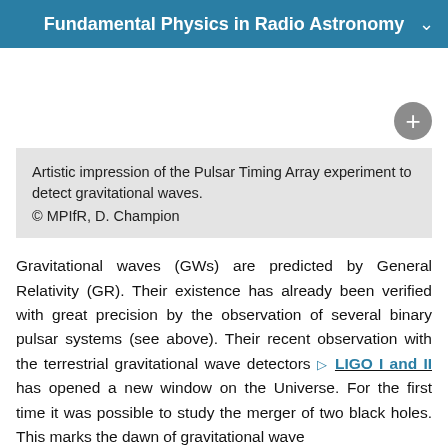Fundamental Physics in Radio Astronomy
Artistic impression of the Pulsar Timing Array experiment to detect gravitational waves.
© MPIfR, D. Champion
Gravitational waves (GWs) are predicted by General Relativity (GR). Their existence has already been verified with great precision by the observation of several binary pulsar systems (see above). Their recent observation with the terrestrial gravitational wave detectors ⊙ LIGO I and II has opened a new window on the Universe. For the first time it was possible to study the merger of two black holes. This marks the dawn of gravitational wave